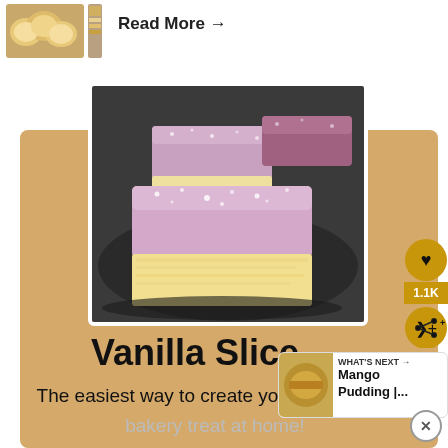[Figure (photo): Thumbnail images of biscuits/cookies at top left]
Read More →
[Figure (photo): Photo of Vanilla Slice dessert — square sponge cake pieces with pink icing dusted with powdered sugar on a dark plate]
Vanilla Slice
The easiest way to create your favourite
bakery treat at home!
[Figure (infographic): Heart/like button with 1.1K count and share button on right side]
[Figure (infographic): What's Next panel showing Mango Pudding |... with thumbnail]